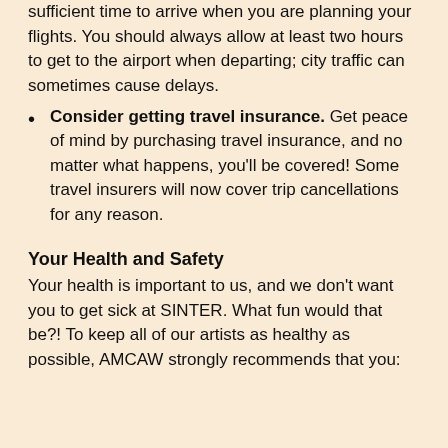sufficient time to arrive when you are planning your flights. You should always allow at least two hours to get to the airport when departing; city traffic can sometimes cause delays.
Consider getting travel insurance. Get peace of mind by purchasing travel insurance, and no matter what happens, you'll be covered! Some travel insurers will now cover trip cancellations for any reason.
Your Health and Safety
Your health is important to us, and we don't want you to get sick at SINTER. What fun would that be?! To keep all of our artists as healthy as possible, AMCAW strongly recommends that you: